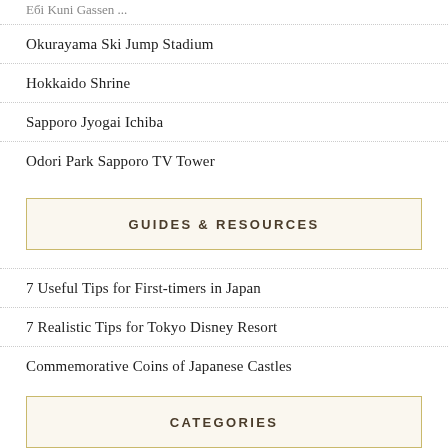Okurayama Ski Jump Stadium
Hokkaido Shrine
Sapporo Jyogai Ichiba
Odori Park Sapporo TV Tower
GUIDES & RESOURCES
7 Useful Tips for First-timers in Japan
7 Realistic Tips for Tokyo Disney Resort
Commemorative Coins of Japanese Castles
CATEGORIES